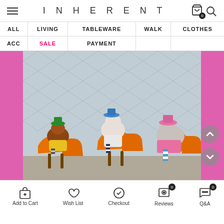INHERENT
| ALL | LIVING | TABLEWARE | WALK | CLOTHES |
| --- | --- | --- | --- | --- |
| ACC | SALE | PAYMENT |  |  |
[Figure (photo): Three dogs dressed in colorful clothes and hats sitting on orange plastic bench chairs in front of a chain-link fence. Left dog wears green hat and yellow outfit, middle dog wears blue hat and striped outfit, right dog wears pink hat and pink outfit.]
Add to Cart | Wish List | Checkout | Reviews | Q&A